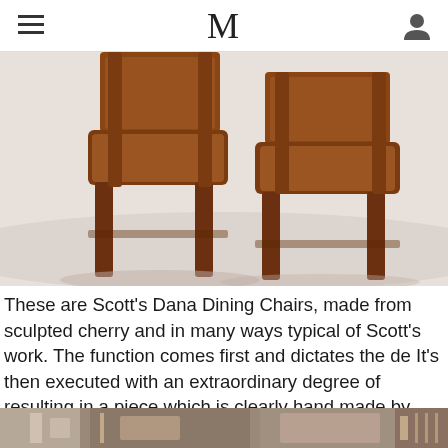M
[Figure (photo): Two wooden dining chairs with sculpted cherry wood frames and leather/suede seats, photographed on a white background]
These are Scott's Dana Dining Chairs, made from sculpted cherry and in many ways typical of Scott's work. The function comes first and dictates the de It's then executed with an extraordinary degree of resulting in a piece which is clearly hand made by craftsman.
[Figure (photo): Partial view of a workshop or showroom interior with furniture and shelving visible]